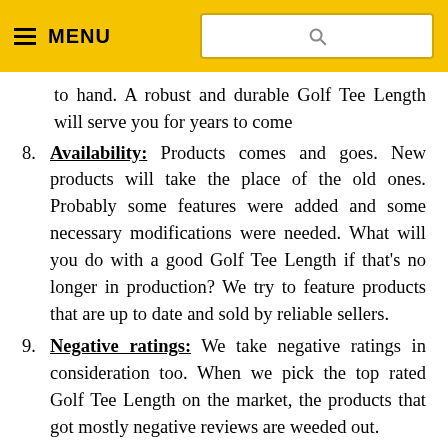MENU [search bar]
to hand. A robust and durable Golf Tee Length will serve you for years to come
8. Availability: Products comes and goes. New products will take the place of the old ones. Probably some features were added and some necessary modifications were needed. What will you do with a good Golf Tee Length if that's no longer in production? We try to feature products that are up to date and sold by reliable sellers.
9. Negative ratings: We take negative ratings in consideration too. When we pick the top rated Golf Tee Length on the market, the products that got mostly negative reviews are weeded out.
These are the criteria we have chosen our Golf Tee